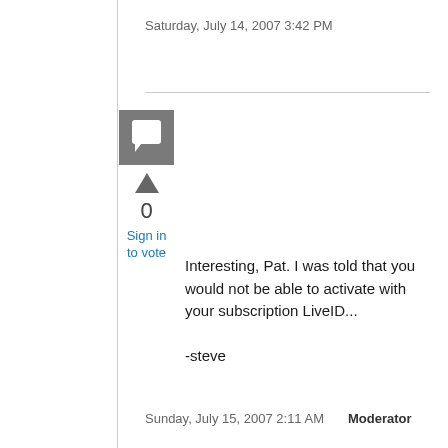Saturday, July 14, 2007 3:42 PM
[Figure (illustration): Grey square avatar icon with white speech bubble/comment icon]
0
Sign in to vote
Interesting, Pat. I was told that you would not be able to activate with your subscription LiveID...

-steve
Sunday, July 15, 2007 2:11 AM  Moderator